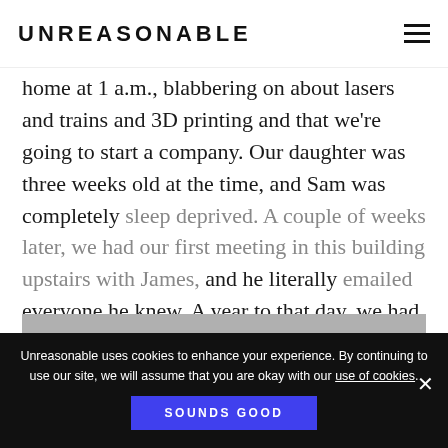UNREASONABLE
home at 1 a.m., blabbering on about lasers and trains and 3D printing and that we're going to start a company. Our daughter was three weeks old at the time, and Sam was completely sleep deprived. A couple of weeks later, we had our first meeting in this building upstairs with James, and he literally emailed everyone he knew. A year to that day, we had two prototypes and a company.
Unreasonable uses cookies to enhance your experience. By continuing to use our site, we will assume that you are okay with our use of cookies.
SOUNDS GOOD